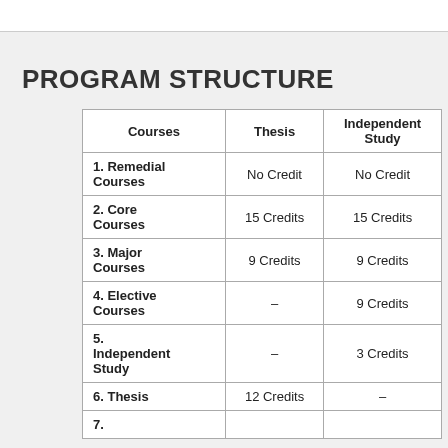PROGRAM STRUCTURE
| Courses | Thesis | Independent Study |
| --- | --- | --- |
| 1. Remedial Courses | No Credit | No Credit |
| 2. Core Courses | 15 Credits | 15 Credits |
| 3. Major Courses | 9 Credits | 9 Credits |
| 4. Elective Courses | – | 9 Credits |
| 5. Independent Study | – | 3 Credits |
| 6. Thesis | 12 Credits | – |
| 7. |  |  |